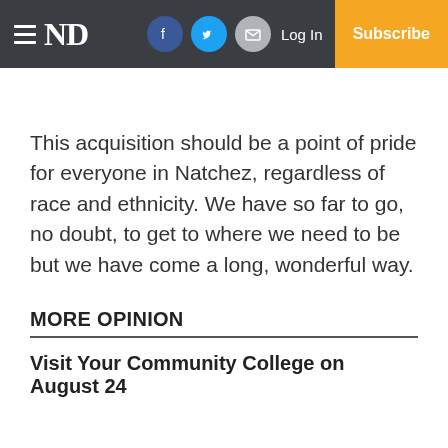ND — Log In — Subscribe
This acquisition should be a point of pride for everyone in Natchez, regardless of race and ethnicity. We have so far to go, no doubt, to get to where we need to be but we have come a long, wonderful way.
MORE OPINION
Visit Your Community College on August 24